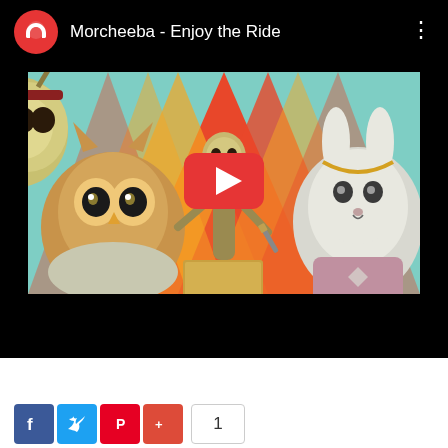[Figure (screenshot): YouTube video player screenshot showing 'Morcheeba - Enjoy the Ride' with a red channel icon, video thumbnail of animated animal characters with a play button overlay, and social share buttons (Facebook, Twitter, Pinterest, Google+) with a count of 1 at the bottom.]